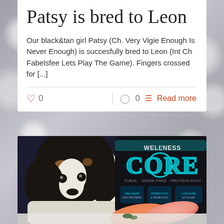Patsy is bred to Leon
Our black&tan girl Patsy (Ch. Very Vigie Enough Is Never Enough) is succesfully bred to Leon (Int Ch Fabelsfee Lets Play The Game). Fingers crossed for [...]
♡ 0  ◯ 0  Read more
[Figure (photo): A Cavalier King Charles Spaniel dog sitting next to a bag of Wellness CORE grain-free protein-rich dog food with salmon and tuna visible in the foreground]